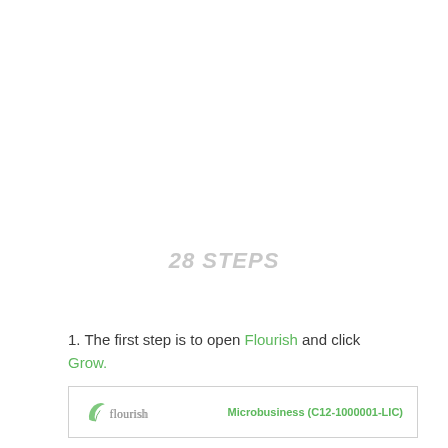28 STEPS
1. The first step is to open Flourish and click Grow.
[Figure (logo): Flourish logo with leaf icon on left, and 'Microbusiness (C12-1000001-LIC)' text in green on right, inside a bordered box]